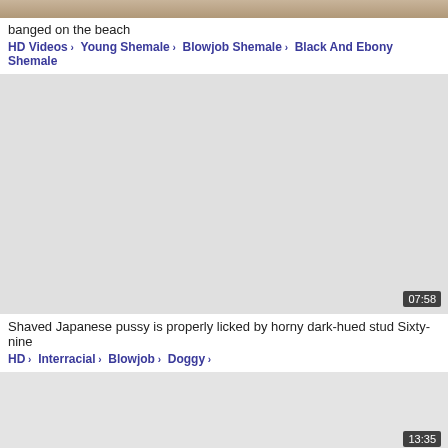[Figure (screenshot): Partial video thumbnail at top of page showing beach/outdoor scene]
banged on the beach
HD Videos › Young Shemale › Blowjob Shemale › Black And Ebony Shemale
[Figure (screenshot): Video thumbnail placeholder gray area with duration badge 07:58]
Shaved Japanese pussy is properly licked by horny dark-hued stud Sixty-nine
HD › Interracial › Blowjob › Doggy ›
[Figure (screenshot): Video thumbnail placeholder gray area with duration badge 13:35]